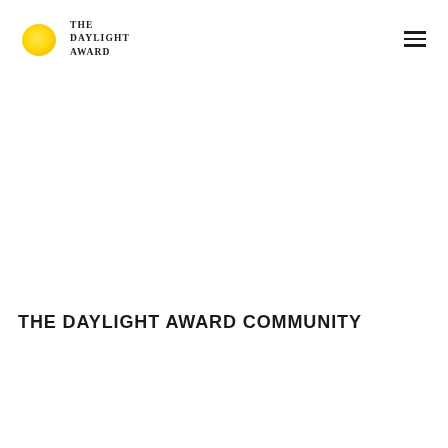THE DAYLIGHT AWARD
THE DAYLIGHT AWARD COMMUNITY